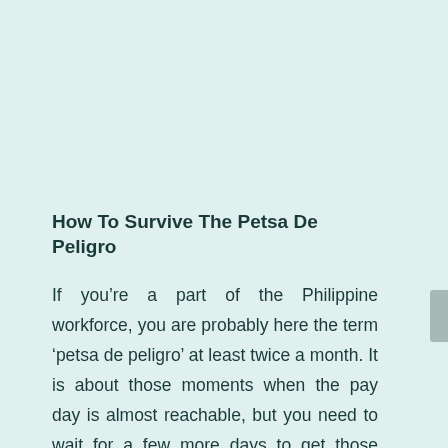How To Survive The Petsa De Peligro
If you’re a part of the Philippine workforce, you are probably here the term ‘petsa de peligro’ at least twice a month. It is about those moments when the pay day is almost reachable, but you need to wait for a few more days to get those needed zeros to your bank account. Most Filipinos fall into this practice because most